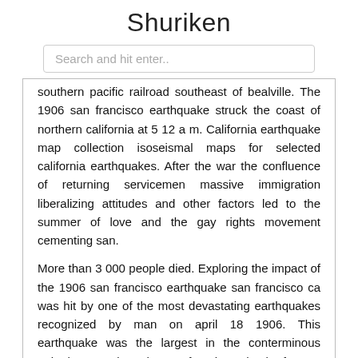Shuriken
Search and hit enter..
southern pacific railroad southeast of bealville. The 1906 san francisco earthquake struck the coast of northern california at 5 12 a m. California earthquake map collection isoseismal maps for selected california earthquakes. After the war the confluence of returning servicemen massive immigration liberalizing attitudes and other factors led to the summer of love and the gay rights movement cementing san.
More than 3 000 people died. Exploring the impact of the 1906 san francisco earthquake san francisco ca was hit by one of the most devastating earthquakes recognized by man on april 18 1906. This earthquake was the largest in the conterminous united states since the san francisco shock of 1906. The baseball championship between the san francisco giants and the oakland athletics was suspended for 10 days because.